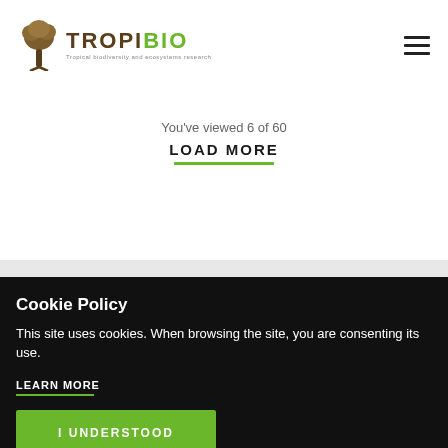TROPIBIO
You've viewed 6 of 60
LOAD MORE
Cookie Policy
This site uses cookies. When browsing the site, you are consenting its use.
LEARN MORE
I UNDERSTOOD